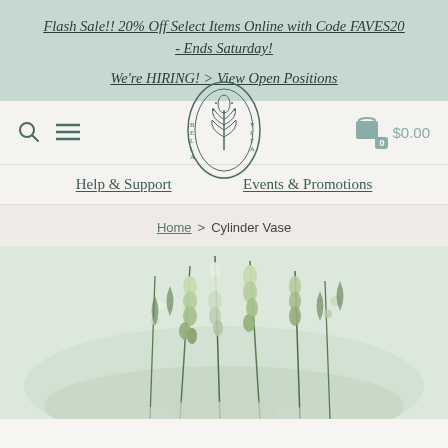Flash Sale!! 20% Off Select Items Online with Code FAVES20 - Ends Saturday!
We're HIRING! > View Open Positions
[Figure (logo): Bella Vita botanical logo — an oval shape with leaf/plant illustration and the words BELLA VITA arranged around it]
Help & Support
Events & Promotions
Home > Cylinder Vase
[Figure (photo): Close-up photo of white and green flowers, including snapdragons and greenery in a cylinder vase arrangement against a light background]